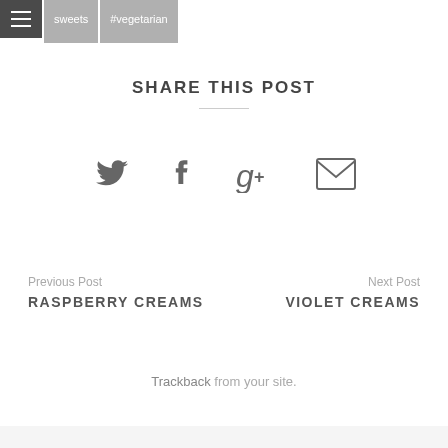sweets  #vegetarian
SHARE THIS POST
[Figure (infographic): Social share icons: Twitter bird, Facebook f, Google+, Email envelope]
Previous Post
RASPBERRY CREAMS
Next Post
VIOLET CREAMS
Trackback from your site.